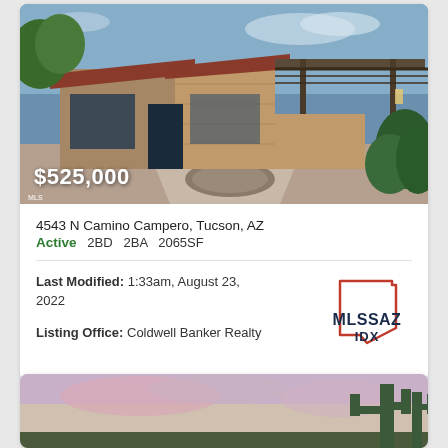[Figure (photo): Exterior photo of a southwestern-style home with tan brick facade, tiled roof, covered carport, and desert landscaping. Price overlay reads $525,000.]
4543 N Camino Campero, Tucson, AZ
Active   2BD   2BA   2065SF
Last Modified: 1:33am, August 23, 2022
[Figure (logo): MLSSAZ IDX logo — Arizona state outline in orange/red with MLSSAZ IDX text in dark navy]
Listing Office: Coldwell Banker Realty
[Figure (photo): Bottom partial photo showing desert sky at dusk with a saguaro cactus silhouette on the right edge.]